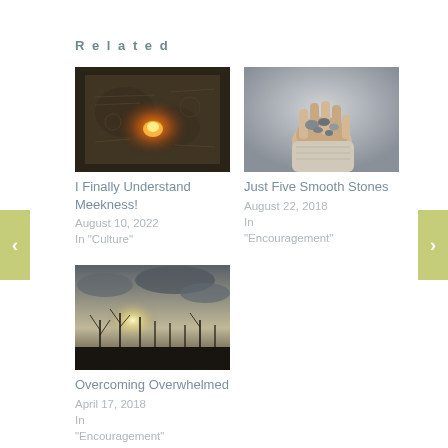Related
[Figure (photo): A candlelit map or parchment with warm orange glow from a candle in the center, dark background]
I Finally Understand Meekness!
August 10, 2022
In "Culture"
[Figure (photo): A hand wearing a fingerless glove holding small smooth stones, outdoors with blurry background]
Just Five Smooth Stones
August 22, 2018
In "Encouragement"
[Figure (photo): Silhouette of bare tree branches against a dramatic grey sky with sunlight breaking through clouds]
Overcoming Overwhelmed
April 17, 2018
In "Encouragement"